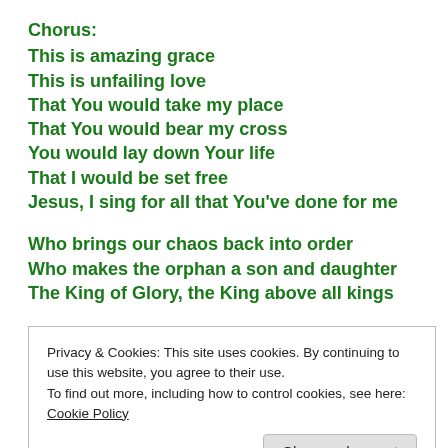Chorus:
This is amazing grace
This is unfailing love
That You would take my place
That You would bear my cross
You would lay down Your life
That I would be set free
Jesus, I sing for all that You've done for me
Who brings our chaos back into order
Who makes the orphan a son and daughter
The King of Glory, the King above all kings
Privacy & Cookies: This site uses cookies. By continuing to use this website, you agree to their use.
To find out more, including how to control cookies, see here: Cookie Policy